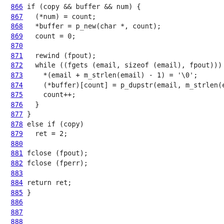[Figure (screenshot): Source code listing in C, lines 866-890, showing code for email buffer handling and smime_extract_certificate function declaration. Line numbers are shown in blue underlined text on the left, followed by C code in dark text.]